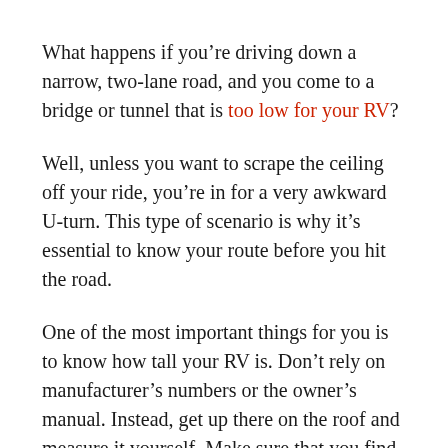What happens if you're driving down a narrow, two-lane road, and you come to a bridge or tunnel that is too low for your RV?
Well, unless you want to scrape the ceiling off your ride, you're in for a very awkward U-turn. This type of scenario is why it's essential to know your route before you hit the road.
One of the most important things for you is to know how tall your RV is. Don't rely on manufacturer's numbers or the owner's manual. Instead, get up there on the roof and measure it yourself. Make sure that you find the highest point to measure from – not the roof of the RV, but rather the top of the AC or satellite dish. Or any other tall thing you have up there on the roof. Only trust the